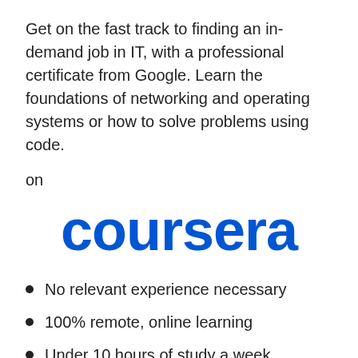Get on the fast track to finding an in-demand job in IT, with a professional certificate from Google. Learn the foundations of networking and operating systems or how to solve problems using code.
on
[Figure (logo): Coursera logo in bold blue text]
No relevant experience necessary
100% remote, online learning
Under 10 hours of study a week